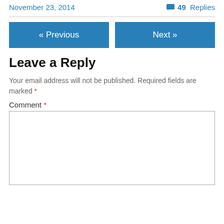November 23, 2014    49 Replies
« Previous    Next »
Leave a Reply
Your email address will not be published. Required fields are marked *
Comment *